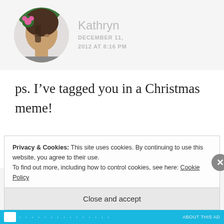[Figure (photo): Circular avatar photo of Kathryn - child with dark hair wearing green headband with pink flower decorations]
Kathryn
DECEMBER 11, 2012 AT 8:16 PM
ps. I’ve tagged you in a Christmas meme!
[Figure (photo): Circular avatar photo of nessbow - young woman with light hair]
nessbow
DECEMBER 1…
Privacy & Cookies: This site uses cookies. By continuing to use this website, you agree to their use.
To find out more, including how to control cookies, see here: Cookie Policy
Close and accept